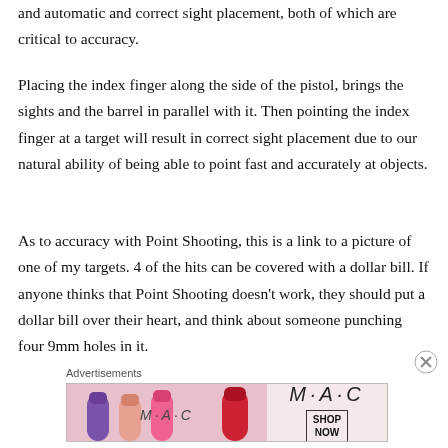and automatic and correct sight placement, both of which are critical to accuracy.
Placing the index finger along the side of the pistol, brings the sights and the barrel in parallel with it. Then pointing the index finger at a target will result in correct sight placement due to our natural ability of being able to point fast and accurately at objects.
As to accuracy with Point Shooting, this is a link to a picture of one of my targets. 4 of the hits can be covered with a dollar bill. If anyone thinks that Point Shooting doesn't work, they should put a dollar bill over their heart, and think about someone punching four 9mm holes in it.
Advertisements
[Figure (photo): MAC cosmetics advertisement showing lipsticks with 'SHOP NOW' button]